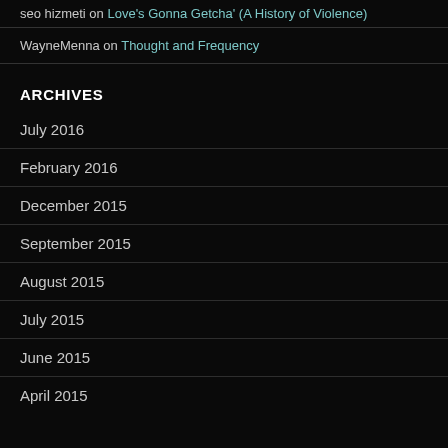seo hizmeti on Love's Gonna Getcha' (A History of Violence)
WayneMenna on Thought and Frequency
ARCHIVES
July 2016
February 2016
December 2015
September 2015
August 2015
July 2015
June 2015
April 2015